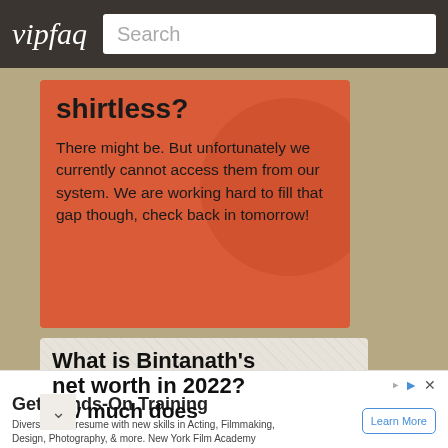vipfaq  Search
shirtless?
There might be. But unfortunately we currently cannot access them from our system. We are working hard to fill that gap though, check back in tomorrow!
What is Bintanath's net worth in 2022? ow much does
Get Hands-On Training
Diversify your resume with new skills in Acting, Filmmaking, Design, Photography, & more. New York Film Academy